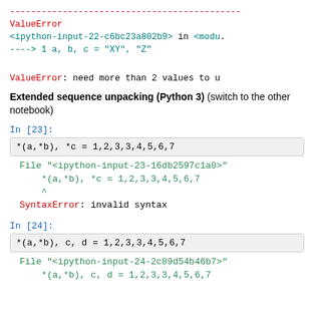--------------------------------------------
ValueError
<ipython-input-22-c6bc23a802b9> in <modu...
----> 1 a, b, c = "XY", "Z"

ValueError: need more than 2 values to u...
Extended sequence unpacking (Python 3) (switch to the other notebook)
In [23]:
*(a,*b), *c = 1,2,3,3,4,5,6,7
File "<ipython-input-23-16db2597c1a0>"
    *(a,*b), *c = 1,2,3,3,4,5,6,7
    ^
SyntaxError: invalid syntax
In [24]:
*(a,*b), c, d = 1,2,3,3,4,5,6,7
File "<ipython-input-24-2c89d54b46b7>"
    *(a,*b), c, d = 1,2,3,3,4,5,6,7